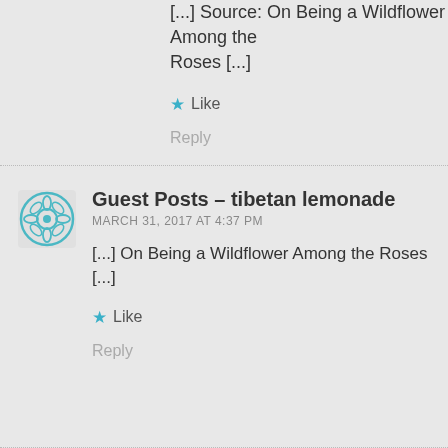[...] Source: On Being a Wildflower Among the Roses [...]
Like
Reply
Guest Posts – tibetan lemonade
MARCH 31, 2017 AT 4:37 PM
[...] On Being a Wildflower Among the Roses [...]
Like
Reply